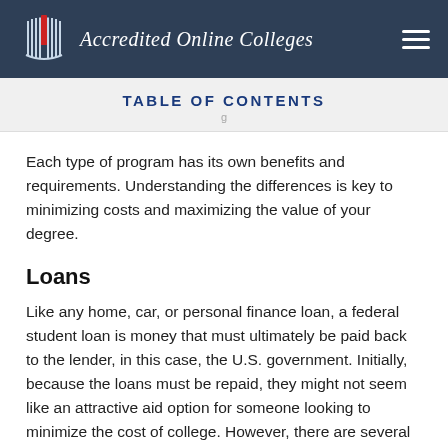Accredited Online Colleges
TABLE OF CONTENTS
Each type of program has its own benefits and requirements. Understanding the differences is key to minimizing costs and maximizing the value of your degree.
Loans
Like any home, car, or personal finance loan, a federal student loan is money that must ultimately be paid back to the lender, in this case, the U.S. government. Initially, because the loans must be repaid, they might not seem like an attractive aid option for someone looking to minimize the cost of college. However, there are several